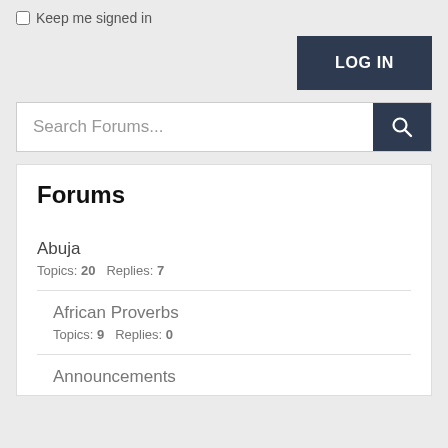Keep me signed in
LOG IN
Search Forums...
Forums
Abuja
Topics: 20   Replies: 7
African Proverbs
Topics: 9   Replies: 0
Announcements